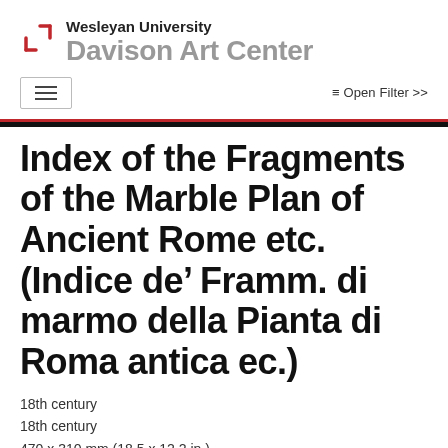Wesleyan University Davison Art Center
Index of the Fragments of the Marble Plan of Ancient Rome etc. (Indice de’ Framm. di marmo della Pianta di Roma antica ec.)
18th century
18th century
470 x 310 mm (18.5 x 12.2 in.)